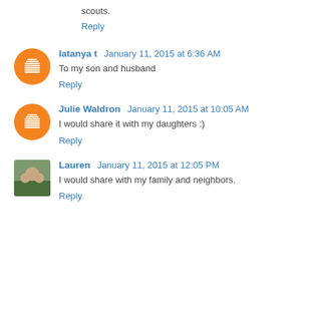scouts.
Reply
latanya t  January 11, 2015 at 6:36 AM
To my son and husband
Reply
Julie Waldron  January 11, 2015 at 10:05 AM
I would share it with my daughters :)
Reply
Lauren  January 11, 2015 at 12:05 PM
I would share with my family and neighbors.
Reply